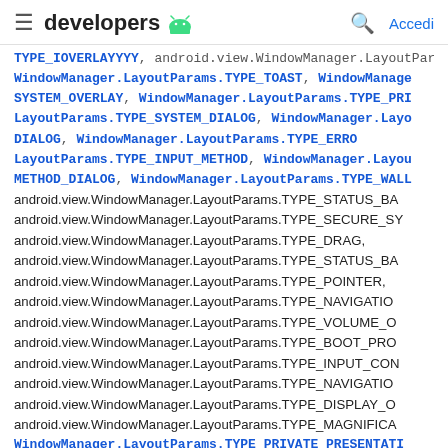≡ developers 🤖   🔍 Accedi
TYPE_OVERLAYYYY, android.view.WindowManager.LayoutParams.TYPE_TOAST, WindowManager.LayoutParams.TYPE_SYSTEM_OVERLAY, WindowManager.LayoutParams.TYPE_PRIORITY_PHONE, WindowManager.LayoutParams.TYPE_SYSTEM_DIALOG, WindowManager.LayoutParams.TYPE_KEYGUARD_DIALOG, WindowManager.LayoutParams.TYPE_SYSTEM_ERROR, WindowManager.LayoutParams.TYPE_INPUT_METHOD, WindowManager.LayoutParams.TYPE_INPUT_METHOD_DIALOG, WindowManager.LayoutParams.TYPE_WALLPAPER, android.view.WindowManager.LayoutParams.TYPE_STATUS_BAR_PANEL, android.view.WindowManager.LayoutParams.TYPE_SECURE_SYSTEM_OVERLAY, android.view.WindowManager.LayoutParams.TYPE_DRAG, android.view.WindowManager.LayoutParams.TYPE_STATUS_BAR_SUB_PANEL, android.view.WindowManager.LayoutParams.TYPE_POINTER, android.view.WindowManager.LayoutParams.TYPE_NAVIGATION_BAR, android.view.WindowManager.LayoutParams.TYPE_VOLUME_OVERLAY, android.view.WindowManager.LayoutParams.TYPE_BOOT_PROGRESS, android.view.WindowManager.LayoutParams.TYPE_INPUT_CONSUMER, android.view.WindowManager.LayoutParams.TYPE_NAVIGATION_BAR_PANEL, android.view.WindowManager.LayoutParams.TYPE_DISPLAY_OVERLAY, android.view.WindowManager.LayoutParams.TYPE_MAGNIFICATION_OVERLAY, WindowManager.LayoutParams.TYPE_PRIVATE_PRESENTATION, android.view.WindowManager.LayoutParams.TYPE_VOICE_INTERACTION